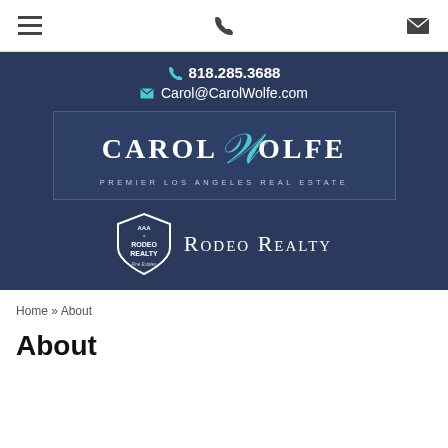Navigation bar with hamburger menu, phone icon, and email/envelope icon
818.285.3688
Carol@CarolWolfe.com
[Figure (logo): Carol Wolfe Premier Los Angeles Real Estate logo on dark blue background]
[Figure (logo): Rodeo Realty Fine Estates logo with shield emblem and text]
Home » About
About